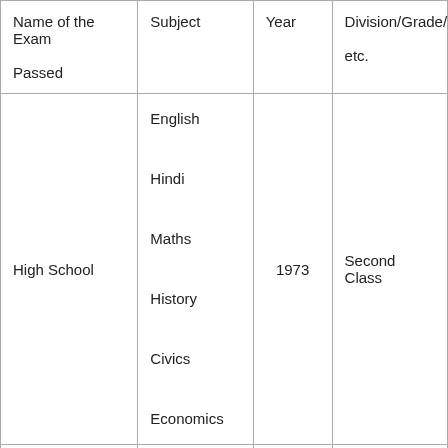| Name of the Exam Passed | Subject | Year | Division/Grade/Me etc. |
| --- | --- | --- | --- |
| High School | English
Hindi
Maths
History
Civics
Economics | 1973 | Second Class |
| Higher Secondary Pre-degree | NA | NA | NA |
| Bachelor's Degree | Political Science | 1976 | Second Class |
| Master's Degree | Politics | 1978 | First Class |